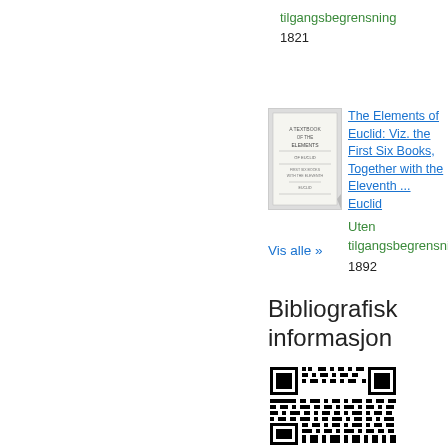tilgangsbegrensning
1821
[Figure (illustration): Thumbnail cover of 'The Elements of Euclid' book]
The Elements of Euclid: Viz. the First Six Books, Together with the Eleventh ... Euclid
Uten tilgangsbegrensning
1892
Vis alle »
Bibliografisk informasjon
[Figure (other): QR code for bibliographic information]